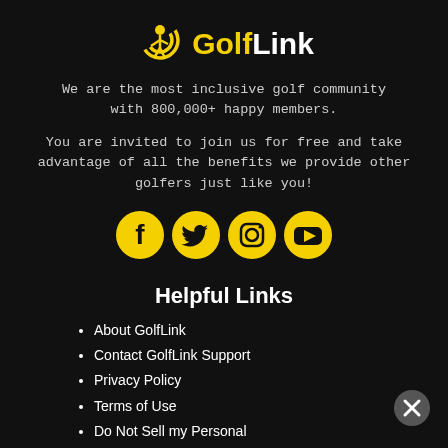[Figure (logo): GolfLink logo: yellow golfer icon with signal arcs, followed by 'GolfLink' in bold white with 'Golf' in yellow]
We are the most inclusive golf community with 800,000+ happy members.
You are invited to join us for free and take advantage of all the benefits we provide other golfers just like you!
[Figure (infographic): Four yellow circle social media icons: Facebook, Twitter, Instagram, YouTube]
Helpful Links
About GolfLink
Contact GolfLink Support
Privacy Policy
Terms of Use
Do Not Sell my Personal Information